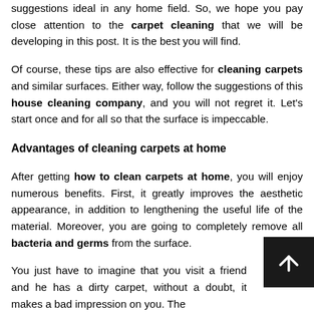suggestions ideal in any home field. So, we hope you pay close attention to the carpet cleaning that we will be developing in this post. It is the best you will find.
Of course, these tips are also effective for cleaning carpets and similar surfaces. Either way, follow the suggestions of this house cleaning company, and you will not regret it. Let's start once and for all so that the surface is impeccable.
Advantages of cleaning carpets at home
After getting how to clean carpets at home, you will enjoy numerous benefits. First, it greatly improves the aesthetic appearance, in addition to lengthening the useful life of the material. Moreover, you are going to completely remove all bacteria and germs from the surface.
You just have to imagine that you visit a friend and he has a dirty carpet, without a doubt, it makes a bad impression on you. The